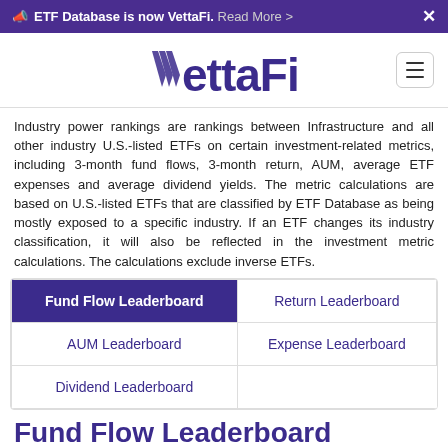ETF Database is now VettaFi. Read More >
[Figure (logo): VettaFi logo with stylized V in purple]
Industry power rankings are rankings between Infrastructure and all other industry U.S.-listed ETFs on certain investment-related metrics, including 3-month fund flows, 3-month return, AUM, average ETF expenses and average dividend yields. The metric calculations are based on U.S.-listed ETFs that are classified by ETF Database as being mostly exposed to a specific industry. If an ETF changes its industry classification, it will also be reflected in the investment metric calculations. The calculations exclude inverse ETFs.
| Fund Flow Leaderboard | Return Leaderboard |
| AUM Leaderboard | Expense Leaderboard |
| Dividend Leaderboard |  |
Fund Flow Leaderboard